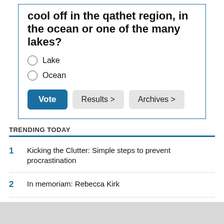cool off in the qathet region, in the ocean or one of the many lakes?
Lake
Ocean
TRENDING TODAY
1  Kicking the Clutter: Simple steps to prevent procrastination
2  In memoriam: Rebecca Kirk
3  Powell River RCMP seek witnesses of armed robbery